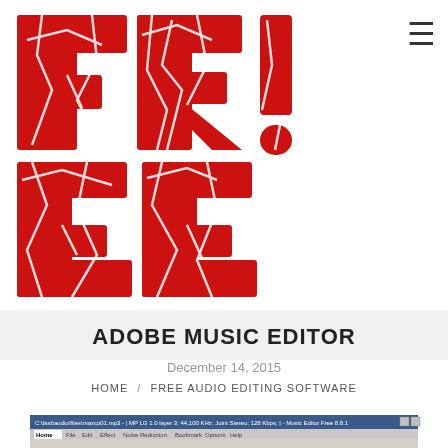[Figure (logo): Large red cracked/distressed 'FREE!' text logo in bold red with white crack lines]
ADOBE MUSIC EDITOR
December 14, 2015
HOME / FREE AUDIO EDITING SOFTWARE
[Figure (screenshot): Screenshot of Music Editor Free software showing audio waveform editing interface with toolbar ribbons and green audio waveform display]